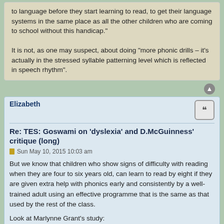to language before they start learning to read, to get their language systems in the same place as all the other children who are coming to school without this handicap."

It is not, as one may suspect, about doing “more phonic drills – it’s actually in the stressed syllable patterning level which is reflected in speech rhythm”.
Elizabeth
Re: TES: Goswami on 'dyslexia' and D.McGuinness' critique (long)
Sun May 10, 2015 10:03 am
But we know that children who show signs of difficulty with reading when they are four to six years old, can learn to read by eight if they are given extra help with phonics early and consistently by a well-trained adult using an effective programme that is the same as that used by the rest of the class.
Look at Marlynne Grant’s study:
http://www.rrf.org.uk/pdf/Grant%20Follo ... 202014.pdf